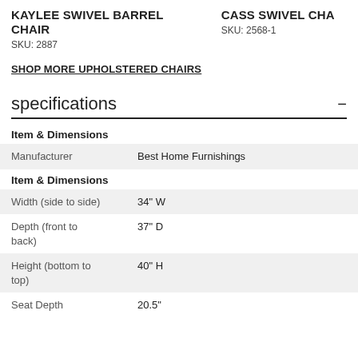KAYLEE SWIVEL BARREL CHAIR
SKU: 2887
CASS SWIVEL CHAIR
SKU: 2568-1
SHOP MORE UPHOLSTERED CHAIRS
specifications
|  |  |
| --- | --- |
| Item & Dimensions |  |
| Manufacturer | Best Home Furnishings |
| Item & Dimensions |  |
| Width (side to side) | 34" W |
| Depth (front to back) | 37" D |
| Height (bottom to top) | 40" H |
| Seat Depth | 20.5" |